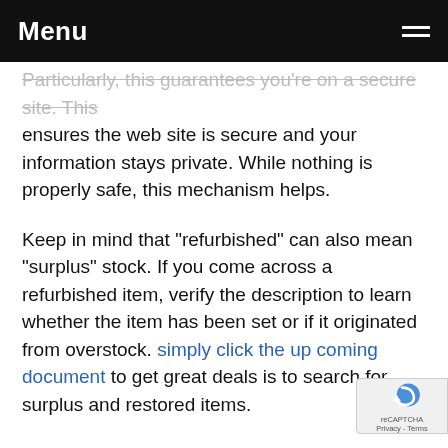Menu
Particularly, this guarantees you're on a secure site. This ensures the web site is secure and your information stays private. While nothing is properly safe, this mechanism helps.
Keep in mind that "refurbished" can also mean "surplus" stock. If you come across a refurbished item, verify the description to learn whether the item has been set or if it originated from overstock. simply click the up coming document to get great deals is to search for surplus and restored items.
As you can view, there are a few easy methods to save a huge amount of money the next time that you do some online shopping. With all the advice...